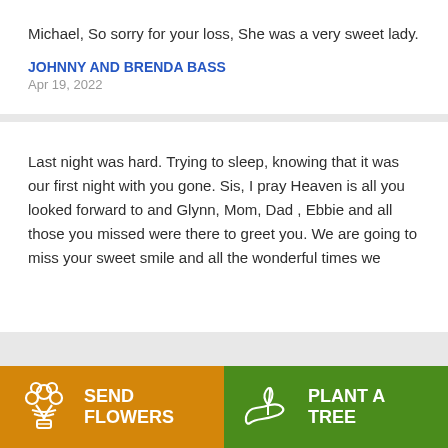Michael, So sorry for your loss, She was a very sweet lady.
JOHNNY AND BRENDA BASS
Apr 19, 2022
Last night was hard. Trying to sleep, knowing that it was our first night with you gone. Sis, I pray Heaven is all you looked forward to and Glynn, Mom, Dad , Ebbie and all those you missed were there to greet you. We are going to miss your sweet smile and all the wonderful times we
SEND FLOWERS
PLANT A TREE